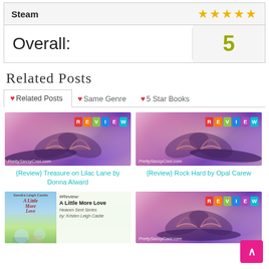| Steam | ★★★★★ |
| --- | --- |
| Overall: | 5 |
Related Posts
❤ Related Posts | ❤ Same Genre | ❤ 5 Star Books
[Figure (photo): Book with pages folded into a heart shape, bokeh background, REVIEW banner, caption: {Review} Treasure on Lilac Lane by Donna Alward]
{Review} Treasure on Lilac Lane by Donna Alward
[Figure (photo): Book with pages folded into a heart shape, bokeh background, REVIEW banner, caption: {Review} Rock Hard by Opal Carew]
{Review} Rock Hard by Opal Carew
[Figure (photo): Book cover: A Little More Love by Kristen Leigh Castle with {Review} overlay text]
[Figure (photo): Book with pages folded into a heart shape, bokeh background, REVIEW banner]